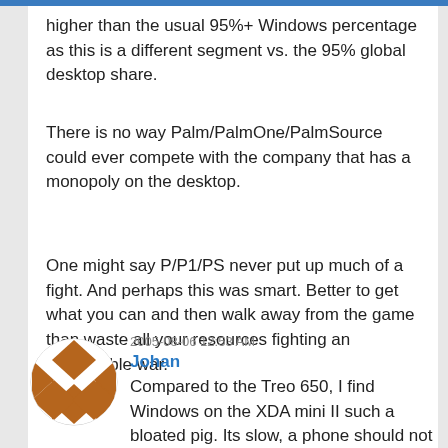higher than the usual 95%+ Windows percentage as this is a different segment vs. the 95% global desktop share.
There is no way Palm/PalmOne/PalmSource could ever compete with the company that has a monopoly on the desktop.
One might say P/P1/PS never put up much of a fight. And perhaps this was smart. Better to get what you can and then walk away from the game than waste all your resources fighting an unwinnable war.
2005-08-06 12:53 AM
Johan
Compared to the Treo 650, I find Windows on the XDA mini II such a bloated pig. Its slow, a phone should not keep me waiting, and it crashes alot, especially that stupid world clock program. My Bluetooth card